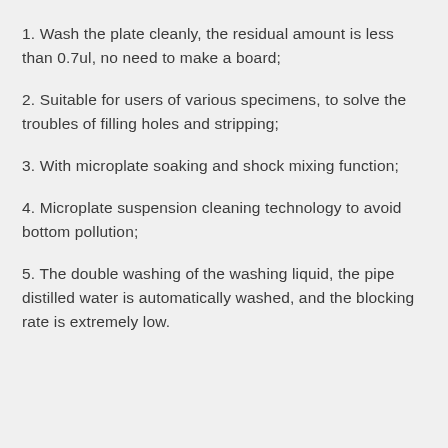1. Wash the plate cleanly, the residual amount is less than 0.7ul, no need to make a board;
2. Suitable for users of various specimens, to solve the troubles of filling holes and stripping;
3. With microplate soaking and shock mixing function;
4. Microplate suspension cleaning technology to avoid bottom pollution;
5. The double washing of the washing liquid, the pipe distilled water is automatically washed, and the blocking rate is extremely low.